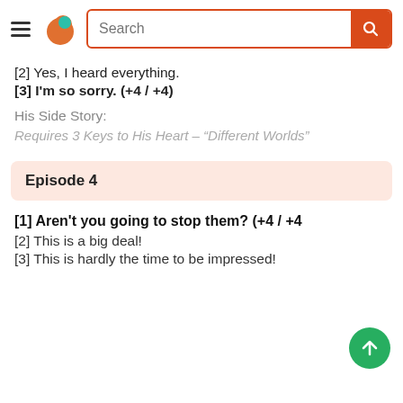Search bar with hamburger menu and logo
[2] Yes, I heard everything.
[3] I'm so sorry. (+4 / +4)
His Side Story:
Requires 3 Keys to His Heart – “Different Worlds”
Episode 4
[1] Aren't you going to stop them? (+4 / +4)
[2] This is a big deal!
[3] This is hardly the time to be impressed!